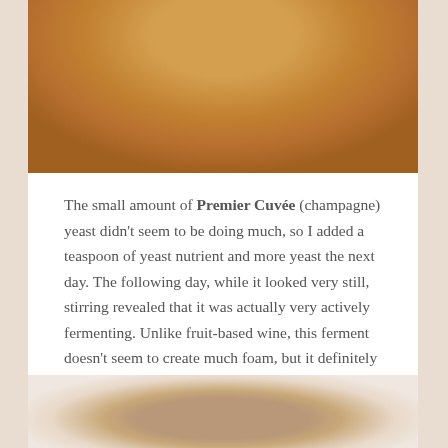[Figure (photo): Close-up photo of a rounded amber/golden liquid surface, likely a fermentation vessel viewed from above showing a smooth honey-colored brew.]
The small amount of Premier Cuvée (champagne) yeast didn't seem to be doing much, so I added a teaspoon of yeast nutrient and more yeast the next day. The following day, while it looked very still, stirring revealed that it was actually very actively fermenting. Unlike fruit-based wine, this ferment doesn't seem to create much foam, but it definitely fizzes when stirred.
[Figure (photo): Close-up photo of a frothy, bubbling fermentation surface with brown liquid and white foam visible, showing active fermentation with small bubbles.]